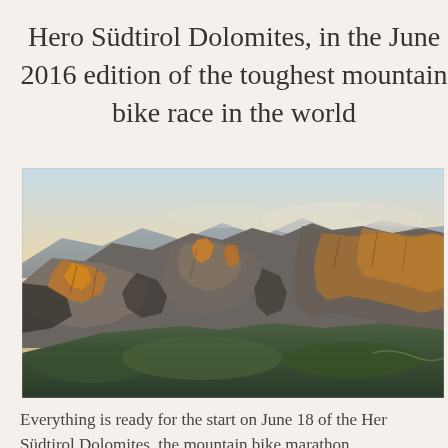Hero Südtirol Dolomites, in the June 2016 edition of the toughest mountain bike race in the world
[Figure (photo): Aerial panoramic photograph of the Dolomite mountains at sunset/golden hour, showing dramatic rocky peaks and cliffs with warm orange light illuminating the stone faces, green valleys below, and a pale sky with clouds on the horizon.]
Everything is ready for the start on June 18 of the Hero Südtirol Dolomites, the mountain bike marathon